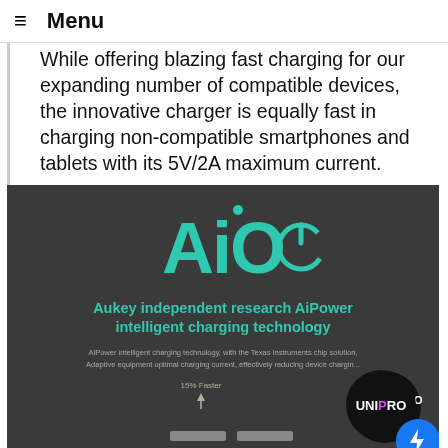≡  Menu
While offering blazing fast charging for our expanding number of compatible devices, the innovative charger is equally fast in charging non-compatible smartphones and tablets with its 5V/2A maximum current.
[Figure (illustration): Dark background image showing the AiO logo (teal colored) with text 'Aukey independent research AiPower intelligent charging technology' and supporting description text, with a 15% Faster indicator and bar comparison, plus UniPro and Messenger badges in the corner.]